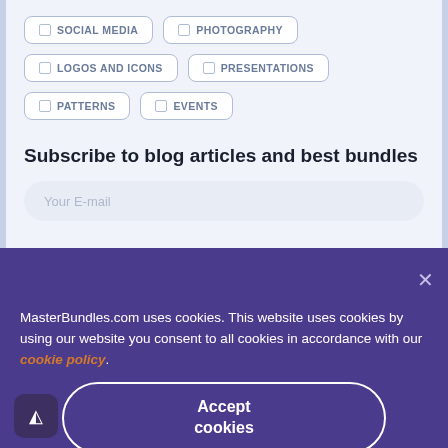☐ SOCIAL MEDIA
☐ PHOTOGRAPHY
☐ LOGOS AND ICONS
☐ PRESENTATIONS
☐ PATTERNS
☐ EVENTS
Subscribe to blog articles and best bundles
Your E-mail
MasterBundles.com uses cookies. This website uses cookies by using our website you consent to all cookies in accordance with our cookie policy.
Accept cookies